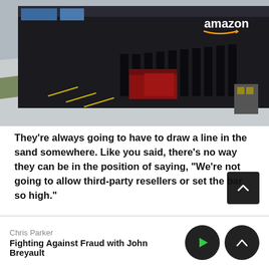[Figure (photo): Aerial view of an Amazon warehouse/fulfillment center with loading docks, red trucks, and the Amazon logo visible on the dark building facade.]
They're always going to have to draw a line in the sand somewhere. Like you said, there's no way they can be in the position of saying, “We're not going to allow third-party resellers or set the bar so high.”
And they can't authenticate every product in the world
Chris Parker
Fighting Against Fraud with John Breyault